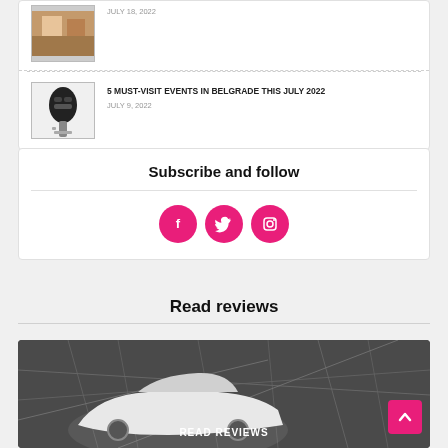JULY 18, 2022
5 MUST-VISIT EVENTS IN BELGRADE THIS JULY 2022
JULY 9, 2022
Subscribe and follow
[Figure (illustration): Three pink circular social media icons: Facebook (f), Twitter (bird), Instagram (camera)]
Read reviews
[Figure (map): Dark city map background with a white car and READ REVIEWS text overlay, pink scroll-to-top button in bottom right corner]